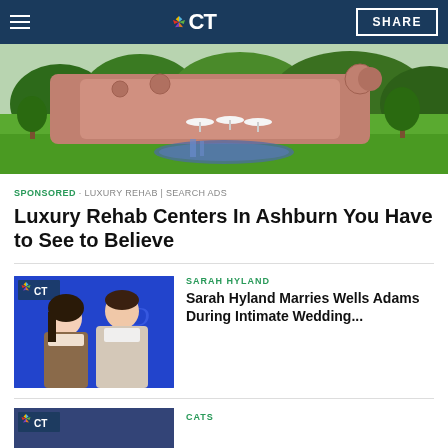NBC CT
[Figure (photo): Aerial view of a luxury rehab center with pink/terracotta curved architecture, lush green lawns, pond with waterfall, outdoor dining area with white umbrellas]
SPONSORED · LUXURY REHAB | SEARCH ADS
Luxury Rehab Centers In Ashburn You Have to See to Believe
[Figure (photo): Sarah Hyland and Wells Adams posing together in front of Disney+ blue backdrop with Disney logo]
SARAH HYLAND
Sarah Hyland Marries Wells Adams During Intimate Wedding...
CATS